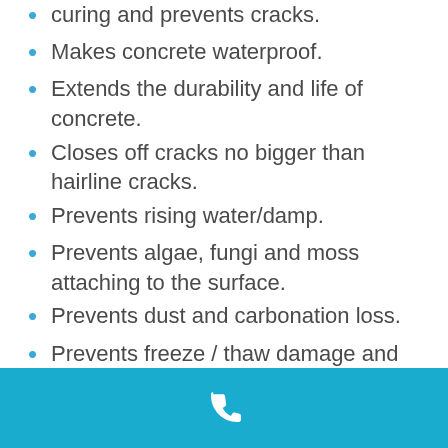curing and prevents cracks.
Makes concrete waterproof.
Extends the durability and life of concrete.
Closes off cracks no bigger than hairline cracks.
Prevents rising water/damp.
Prevents algae, fungi and moss attaching to the surface.
Prevents dust and carbonation loss.
Prevents freeze / thaw damage and penetration of oil, grease, acids, etc.
Paintable (with any type of surface finish).
Water based.
Colorless and odorless.
[Figure (illustration): White phone handset icon on blue background footer bar]